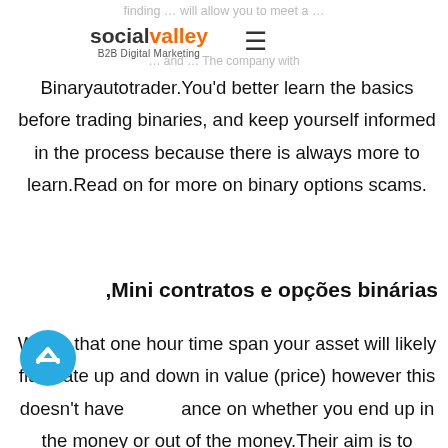finding … B2B Digital Marketing … This company with
[Figure (logo): Social Valley B2B Digital Marketing logo with hamburger menu icon]
Binaryautotrader.You’d better learn the basics before trading binaries, and keep yourself informed in the process because there is always more to learn.Read on for more on binary options scams.
,Mini contratos e opções binárias
Within that one hour time span your asset will likely fluctuate up and down in value (price) however this doesn't have ance on whether you end up in the money or out of the money.Their aim is to support parents who are dedicated to developing in their children a lifelong love of learning, a